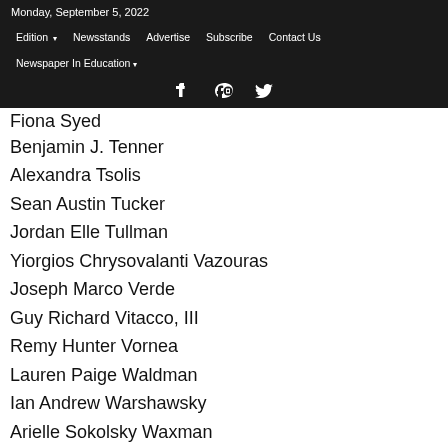Monday, September 5, 2022
Edition | Newsstands | Advertise | Subscribe | Contact Us
Newspaper In Education
Fiona Syed
Benjamin J. Tenner
Alexandra Tsolis
Sean Austin Tucker
Jordan Elle Tullman
Yiorgios Chrysovalanti Vazouras
Joseph Marco Verde
Guy Richard Vitacco, III
Remy Hunter Vornea
Lauren Paige Waldman
Ian Andrew Warshawsky
Arielle Sokolsky Waxman
Rachel Tyler Wechsler
Jillian D. Weinberg